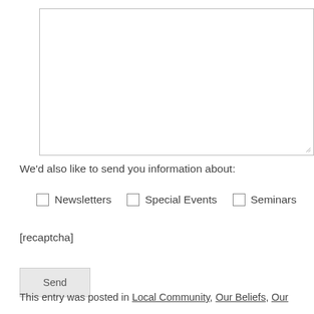[Figure (screenshot): Large empty textarea input box with resize handle in bottom-right corner]
We'd also like to send you information about:
Newsletters
Special Events
Seminars
[recaptcha]
Send
This entry was posted in Local Community, Our Beliefs, Our